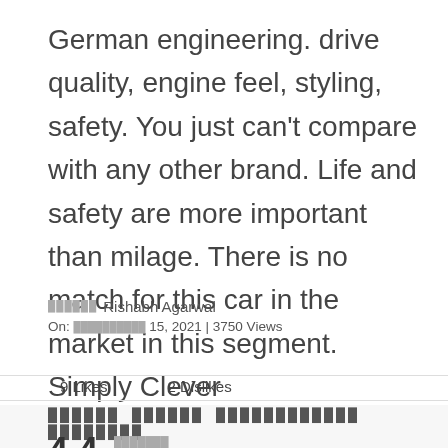German engineering. drive quality, engine feel, styling, safety. You just can't compare with any other brand. Life and safety are more important than milage. There is no match for this car in the market in this segment. Simply Clever
★★★★★ Rishabh Agarwal
On: ██████████ 15, 2021 | 3750 Views
9 Likes    2 Dislikes
██████ ██████ ████████████ ████████
4.4  ███████
313 ████████████ ████████